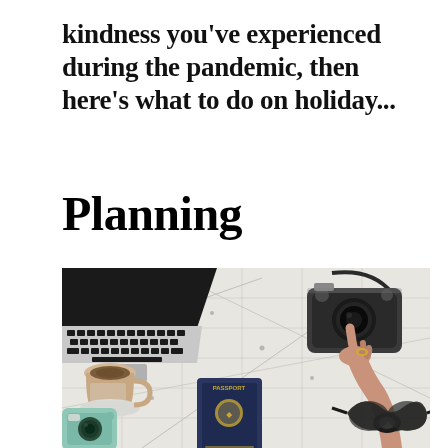kindness you've experienced during the pandemic, then here's what to do on holiday...
Planning
[Figure (photo): Overhead flat-lay photo of a travel planning scene: open map on a table with a laptop (keyboard visible, upper left), a DSLR camera with strap (upper right), a cup of coffee (left middle), a dark navy passport (center), a person's hand pointing at the map (right), sunglasses (lower right), and a mint-green camera (lower left corner).]